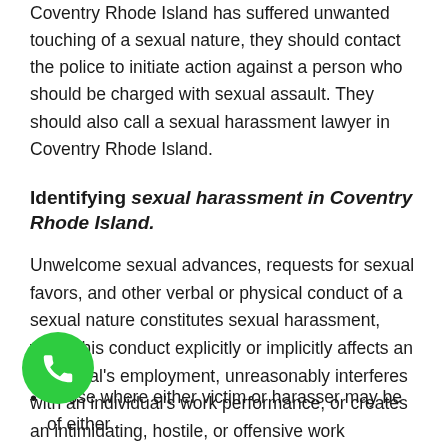Coventry Rhode Island has suffered unwanted touching of a sexual nature, they should contact the police to initiate action against a person who should be charged with sexual assault. They should also call a sexual harassment lawyer in Coventry Rhode Island.
Identifying sexual harassment in Coventry Rhode Island.
Unwelcome sexual advances, requests for sexual favors, and other verbal or physical conduct of a sexual nature constitutes sexual harassment, when this conduct explicitly or implicitly affects an individual's employment, unreasonably interferes with an individual's work performance, or creates an intimidating, hostile, or offensive work environment. Sexual harassment is situational and can occur in many circumstances including
Those where either victim or harasser may be of either